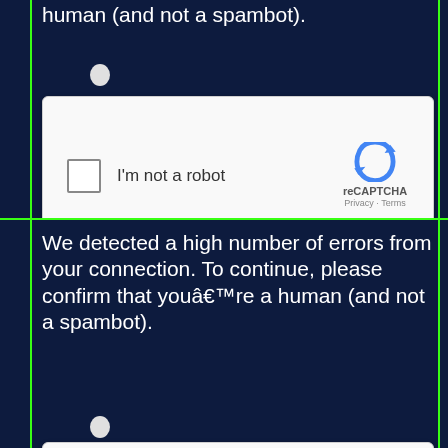human (and not a spambot).
[Figure (screenshot): reCAPTCHA widget with checkbox labeled 'I'm not a robot' and reCAPTCHA logo with Privacy and Terms links (top instance)]
We detected a high number of errors from your connection. To continue, please confirm that youâ€™re a human (and not a spambot).
[Figure (screenshot): reCAPTCHA widget with checkbox labeled 'I'm not a robot' and reCAPTCHA logo with Privacy and Terms links (bottom instance)]